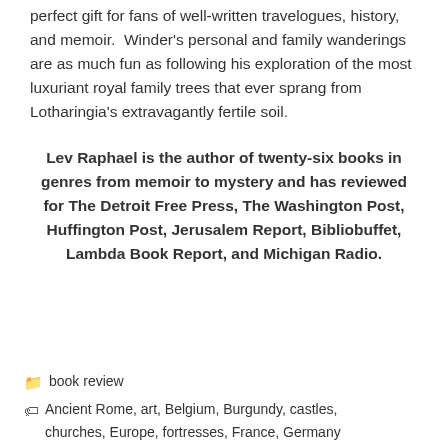perfect gift for fans of well-written travelogues, history, and memoir.  Winder's personal and family wanderings are as much fun as following his exploration of the most luxuriant royal family trees that ever sprang from Lotharingia's extravagantly fertile soil.
Lev Raphael is the author of twenty-six books in genres from memoir to mystery and has reviewed for The Detroit Free Press, The Washington Post, Huffington Post, Jerusalem Report, Bibliobuffet, Lambda Book Report, and Michigan Radio.
book review
Ancient Rome, art, Belgium, Burgundy, castles, churches, Europe, fortresses, France, Germany